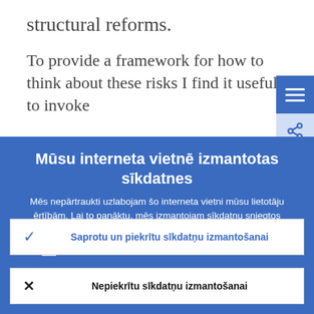structural reforms.
To provide a framework for how to think about these risks I find it useful to invoke
Mūsu interneta vietnē izmantotas sīkdatnes
Mēs nepārtraukti uzlabojam šo interneta vietni mūsu lietotāju ērtībām. Lai to panāktu, mēs izmantojam sīkdatņu sniegtos anonīmos datus.
› Sīkāka informācija par sīkdatņu izmantošanu
Saprotu un piekrītu sīkdatņu izmantošanai
Nepiekrītu sīkdatņu izmantošanai